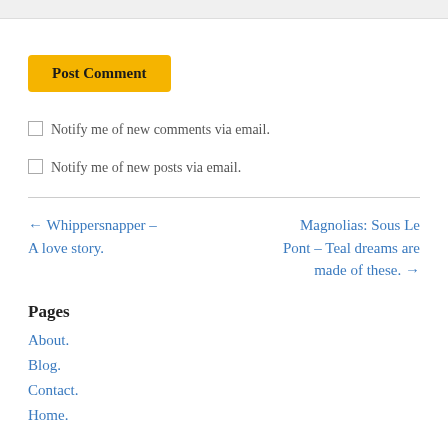[Figure (other): Top gray bar representing a form input field area]
Post Comment
Notify me of new comments via email.
Notify me of new posts via email.
← Whippersnapper – A love story.
Magnolias: Sous Le Pont – Teal dreams are made of these. →
Pages
About.
Blog.
Contact.
Home.